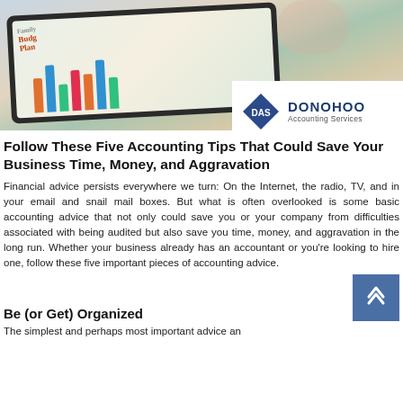[Figure (photo): Photo of a tablet/iPad with budget planning documents and colorful bar charts, with a hand holding a pen. Donohoo Accounting Services logo overlaid in top right corner.]
Follow These Five Accounting Tips That Could Save Your Business Time, Money, and Aggravation
Financial advice persists everywhere we turn: On the Internet, the radio, TV, and in your email and snail mail boxes. But what is often overlooked is some basic accounting advice that not only could save you or your company from difficulties associated with being audited but also save you time, money, and aggravation in the long run. Whether your business already has an accountant or you're looking to hire one, follow these five important pieces of accounting advice.
Be (or Get) Organized
The simplest and perhaps most important advice an